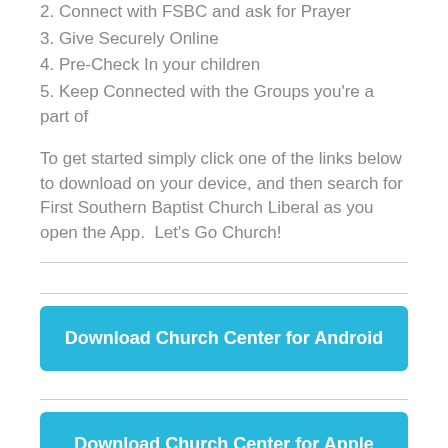2. Connect with FSBC and ask for Prayer
3. Give Securely Online
4. Pre-Check In your children
5. Keep Connected with the Groups you’re a part of
To get started simply click one of the links below to download on your device, and then search for First Southern Baptist Church Liberal as you open the App.  Let’s Go Church!
Download Church Center for Android
Download Church Center for Apple